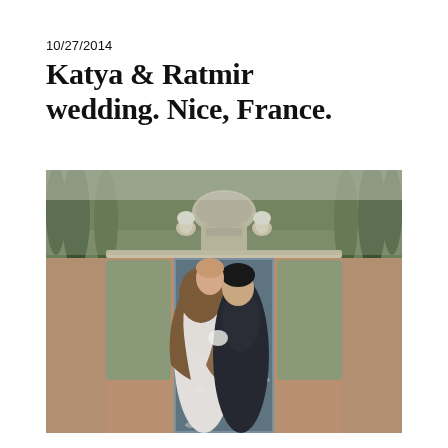10/27/2014
Katya & Ratmir wedding. Nice, France.
[Figure (photo): A couple in wedding attire standing close together with foreheads touching, in front of a long reflecting pool flanked by manicured hedges leading to a domed gazebo, in a formal garden in Nice, France.]